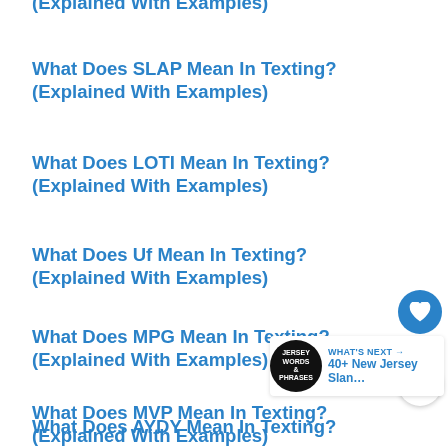(Explained With Examples)
What Does SLAP Mean In Texting?
(Explained With Examples)
What Does LOTI Mean In Texting?
(Explained With Examples)
What Does Uf Mean In Texting?
(Explained With Examples)
What Does MPG Mean In Texting?
(Explained With Examples)
What Does MVP Mean In Texting?
(Explained With Examples)
What Does AYDY Mean In Texting?
(Explained With Examples)